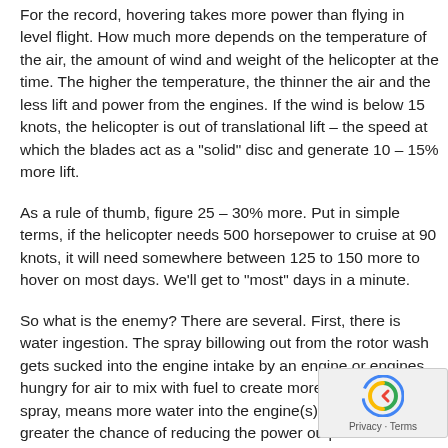For the record, hovering takes more power than flying in level flight. How much more depends on the temperature of the air, the amount of wind and weight of the helicopter at the time. The higher the temperature, the thinner the air and the less lift and power from the engines. If the wind is below 15 knots, the helicopter is out of translational lift – the speed at which the blades act as a "solid" disc and generate 10 – 15% more lift.
As a rule of thumb, figure 25 – 30% more. Put in simple terms, if the helicopter needs 500 horsepower to cruise at 90 knots, it will need somewhere between 125 to 150 more to hover on most days. We'll get to "most" days in a minute.
So what is the enemy? There are several. First, there is water ingestion. The spray billowing out from the rotor wash gets sucked into the engine intake by an engine or engines hungry for air to mix with fuel to create more power. More spray, means more water into the engine(s) intake and the greater the chance of reducing the power output of the engine, or worse, putting the fire out. If the pilot doesn't pay attention, he might wind up swimming.
Most modern jet engines used in helicopters have a "debr… "particle" separator that separates the globules of moisture from…